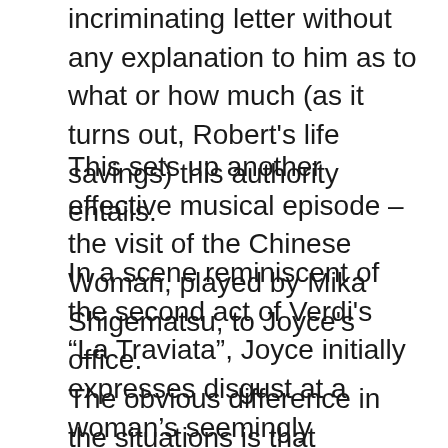incriminating letter without any explanation to him as to what or how much (as it turns out, Robert's life savings) this authority entails.
This sets up another effective musical episode – the visit of the Chinese Woman, played by Mika Shigematsu, to Joyce's office.
In a scene reminiscent of the second act of Verdi's “La Traviata”, Joyce initially expresses disgust at a woman's seemingly disreputable past, then perceives her nobility and regrets his earlier words.
The obvious difference in the situations is that Germont's initial prejudice leads to an unfair characterization of Violetta's motives and behavior, a case of following the